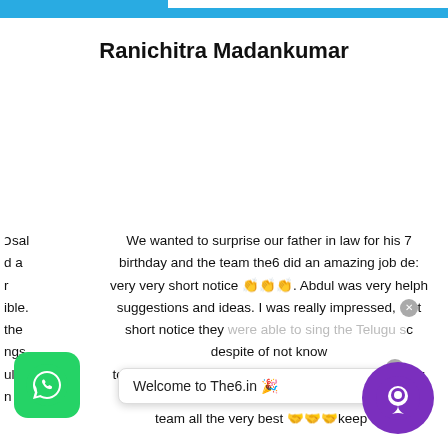Ranichitra Madankumar
We wanted to surprise our father in law for his 7... birthday and the team the6 did an amazing job de... very very short notice 👏👏👏. Abdul was very help... suggestions and ideas. I was really impressed, with short notice they were able to sing the Telugu so despite of not know... to sing. Since we live abroad, you guys did an awes... in conveying our emotions in a beautiful... team all the very best 🤝🤝🤝keep ro...
[Figure (screenshot): Welcome to The6.in popup notification with close button]
[Figure (logo): WhatsApp button (green rounded square)]
[Figure (logo): Chat/message button (purple circle)]